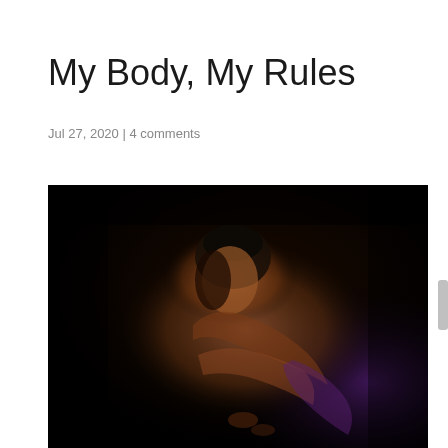My Body, My Rules
Jul 27, 2020 | 4 comments
[Figure (photo): Dark studio photograph of a woman with short dark hair, eyes closed, hugging herself, lit with warm and purple accent lighting against a black background.]